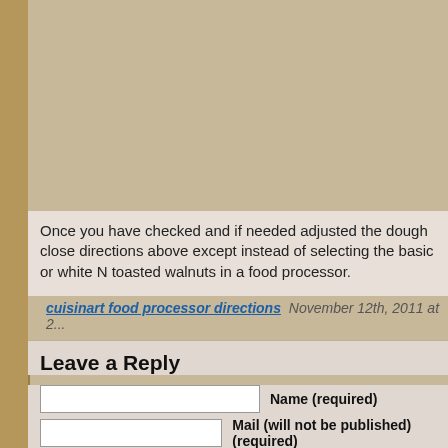Once you have checked and if needed adjusted the dough close directions above except instead of selecting the basic or white N toasted walnuts in a food processor.
cuisinart food processor directions  November 12th, 2011 at 2...
Leave a Reply
Name (required)
Mail (will not be published) (required)
Website